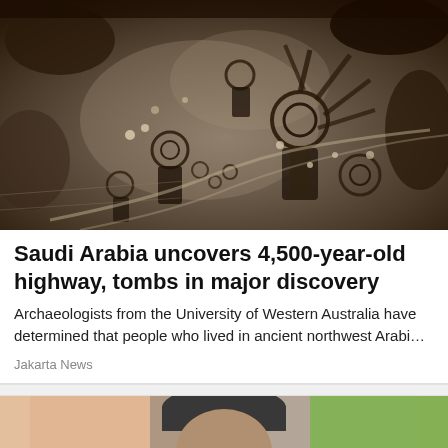[Figure (photo): Aerial photograph of ancient stone structures in Saudi Arabia, showing circular tomb formations and pathways (keyholes/funerary structures) in a brown desert landscape]
Saudi Arabia uncovers 4,500-year-old highway, tombs in major discovery
Archaeologists from the University of Western Australia have determined that people who lived in ancient northwest Arabi…
Jakarta News
[Figure (photo): Partial photo of a person wearing a dark cap, with a peach/salmon colored background on the left and green foliage on the right]